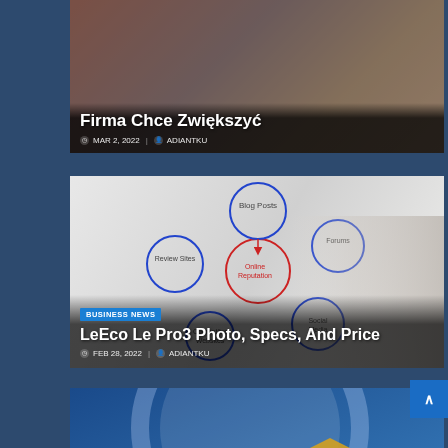[Figure (photo): Article card 1 (top, cropped): photo of people at a market/crowd scene. Title text overlay: 'Firma Chce Zwiększyć', date MAR 2, 2022, author ADIANTKU.]
Firma Chce Zwiększyć
MAR 2, 2022 | ADIANTKU
[Figure (photo): Article card 2 (middle): photo of a hand drawing a mind-map/diagram with circles labeled Blog Posts, Review Sites, Forums, Social Media, Competitor Websites, Online Reputation. Badge: BUSINESS NEWS. Title: LeEco Le Pro3 Photo, Specs, And Price. Date: FEB 28, 2022, author: ADIANTKU.]
BUSINESS NEWS
LeEco Le Pro3 Photo, Specs, And Price
FEB 28, 2022 | ADIANTKU
[Figure (photo): Article card 3 (bottom, partially visible): blue award/circular graphic with text '2018 Most Reputable Company', 'GLOBAL TOP COMPANIES RepTrak'. Badge: BUSINESS PROFESSIONAL. Title starting: 'ChemicalsZa Bloemfontein Mail'.]
BUSINESS PROFESSIONAL
ChemicalsZa Bloemfontein Mail